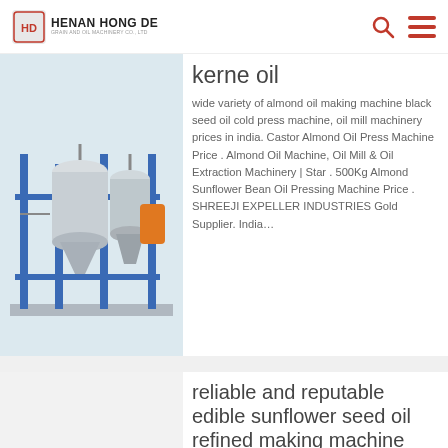HENAN HONG DE GRAIN AND OIL MACHINERY CO., LTD
[Figure (photo): Industrial oil machinery with blue metal frame, tanks, and processing equipment]
kerne oil
wide variety of almond oil making machine black seed oil cold press machine, oil mill machinery prices in india. Castor Almond Oil Press Machine Price . Almond Oil Machine, Oil Mill & Oil Extraction Machinery | Star . 500Kg Almond Sunflower Bean Oil Pressing Machine Price . SHREEJI EXPELLER INDUSTRIES Gold Supplier. India…
reliable and reputable edible sunflower seed oil refined making machine
Automatic stainless steel oil press machine small household peanut，soybean